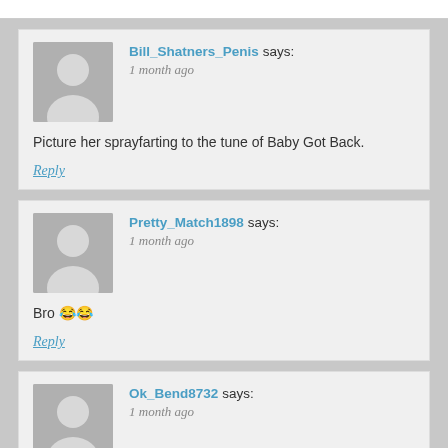Bill_Shatners_Penis says: 1 month ago
Picture her sprayfarting to the tune of Baby Got Back.
Reply
Pretty_Match1898 says: 1 month ago
Bro 😂😂
Reply
Ok_Bend8732 says: 1 month ago